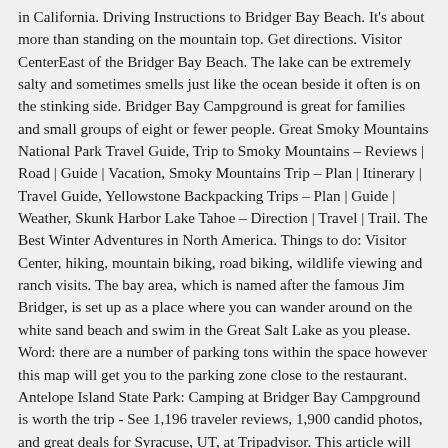in California. Driving Instructions to Bridger Bay Beach. It's about more than standing on the mountain top. Get directions. Visitor CenterEast of the Bridger Bay Beach. The lake can be extremely salty and sometimes smells just like the ocean beside it often is on the stinking side. Bridger Bay Campground is great for families and small groups of eight or fewer people. Great Smoky Mountains National Park Travel Guide, Trip to Smoky Mountains – Reviews | Road | Guide | Vacation, Smoky Mountains Trip – Plan | Itinerary | Travel Guide, Yellowstone Backpacking Trips – Plan | Guide | Weather, Skunk Harbor Lake Tahoe – Direction | Travel | Trail. The Best Winter Adventures in North America. Things to do: Visitor Center, hiking, mountain biking, road biking, wildlife viewing and ranch visits. The bay area, which is named after the famous Jim Bridger, is set up as a place where you can wander around on the white sand beach and swim in the Great Salt Lake as you please. Word: there are a number of parking tons within the space however this map will get you to the parking zone close to the restaurant. Antelope Island State Park: Camping at Bridger Bay Campground is worth the trip - See 1,196 traveler reviews, 1,900 candid photos, and great deals for Syracuse, UT, at Tripadvisor. This article will give an overview of Bridger Bay Beach salt lake, Utah, Antelope Island, etc, LocationAntelope Island State Park – Davis County, Northern Utah, SightsBeach, Great Salt